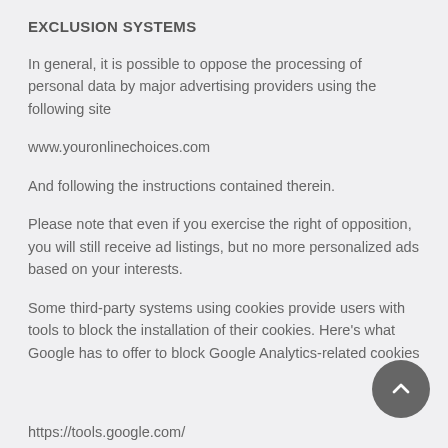EXCLUSION SYSTEMS
In general, it is possible to oppose the processing of personal data by major advertising providers using the following site
www.youronlinechoices.com
And following the instructions contained therein.
Please note that even if you exercise the right of opposition, you will still receive ad listings, but no more personalized ads based on your interests.
Some third-party systems using cookies provide users with tools to block the installation of their cookies. Here's what Google has to offer to block Google Analytics-related cookies
https://tools.google.com/